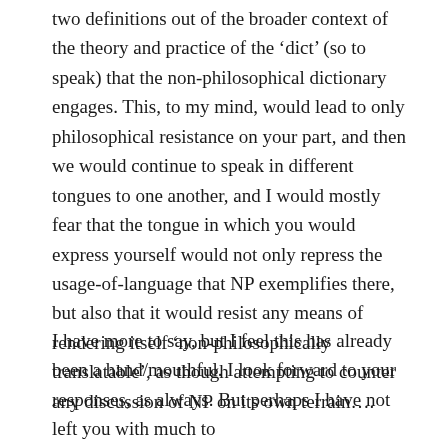two definitions out of the broader context of the theory and practice of the ‘dict’ (so to speak) that the non-philosophical dictionary engages. This, to my mind, would lead to only philosophical resistance on your part, and then we would continue to speak in different tongues to one another, and I would mostly fear that the tongue in which you would express yourself would not only repress the usage-of-language that NP exemplifies there, but also that it would resist any means of rendering itself ‘non-philosophically translatable’, as though attempting to counter any discussion of NP on its own terrain….
I have more to say, but I feel this has already been a hand/mouthful. I look forward to your responses, as always. But perhaps I have not left you with much to